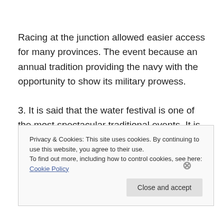Racing at the junction allowed easier access for many provinces. The event because an annual tradition providing the navy with the opportunity to show its military prowess.
3. It is said that the water festival is one of the most spectacular traditional events. It is described as being similar to some festivals held in the north of Europe today. Some traditionalists claim the history of the festival lies in close connection with the history of Buddha, however,
Privacy & Cookies: This site uses cookies. By continuing to use this website, you agree to their use. To find out more, including how to control cookies, see here: Cookie Policy
Close and accept